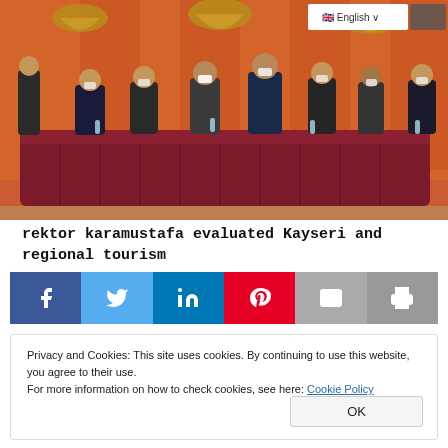[Figure (photo): Conference photo showing officials seated at a large U-shaped table covered with dark red/maroon cloth in an ornate room with decorative lamps. Most participants wear face masks. A language selector showing English with a flag is visible in the top right corner.]
rektor karamustafa evaluated Kayseri and regional tourism
[Figure (infographic): Social sharing buttons row: Facebook (blue), Twitter (light blue), LinkedIn (dark blue), Pinterest (red), Email (grey), Print (grey)]
Privacy and Cookies: This site uses cookies. By continuing to use this website, you agree to their use.
For more information on how to check cookies, see here: Cookie Policy
OK